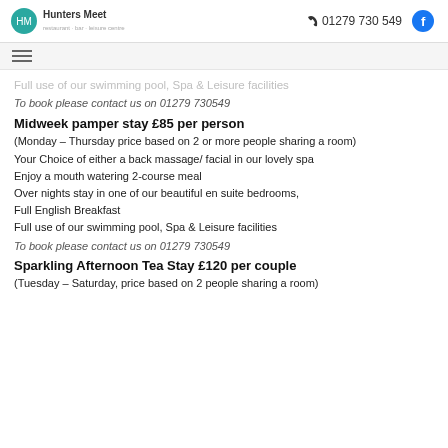Hunters Meet | 01279 730 549
Full use of our swimming pool, Spa & Leisure facilities
To book please contact us on 01279 730549
Midweek pamper stay £85 per person
(Monday – Thursday price based on 2 or more people sharing a room)
Your Choice of either a back massage/ facial in our lovely spa
Enjoy a mouth watering 2-course meal
Over nights stay in one of our beautiful en suite bedrooms,
Full English Breakfast
Full use of our swimming pool, Spa & Leisure facilities
To book please contact us on 01279 730549
Sparkling Afternoon Tea Stay  £120 per couple
(Tuesday – Saturday, price based on 2 people sharing a room)